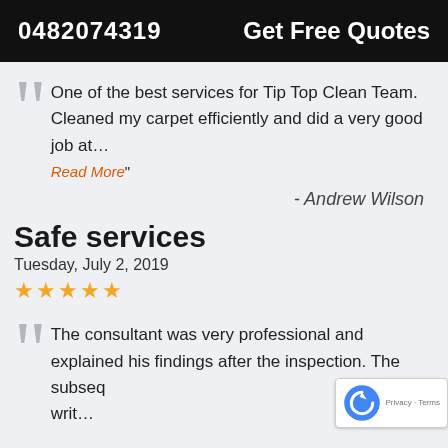0482074319   Get Free Quotes
One of the best services for Tip Top Clean Team. Cleaned my carpet efficiently and did a very good job at…
Read More"
- Andrew Wilson
Safe services
Tuesday, July 2, 2019
★★★★★
The consultant was very professional and explained his findings after the inspection. The subseq writ…